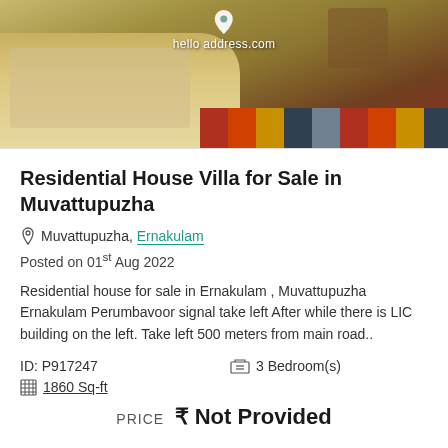[Figure (photo): Exterior photo of a residential house/villa with cream-colored walls, red brick accents, colorful paved driveway. Watermark reads 'hello address.com' with a location pin icon.]
Residential House Villa for Sale in Muvattupuzha
Muvattupuzha, Ernakulam
Posted on 01st Aug 2022
Residential house for sale in Ernakulam , Muvattupuzha Ernakulam Perumbavoor signal take left After while there is LIC building on the left. Take left 500 meters from main road..
ID: P917247
3 Bedroom(s)
1860 Sq-ft
PRICE ₹ Not Provided